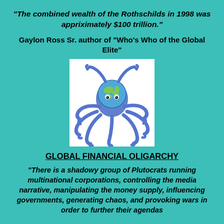"The combined wealth of the Rothschilds in 1998 was appriximately $100 trillion."
Gaylon Ross Sr. author of "Who's Who of the Global Elite"
[Figure (illustration): An illustration of a blue octopus with a globe (Earth) as its head, tentacles spread outward, on a white background.]
GLOBAL FINANCIAL OLIGARCHY
"There is a shadowy group of Plutocrats running multinational corporations, controlling the media narrative, manipulating the money supply, influencing governments, generating chaos, and provoking wars in order to further their agendas